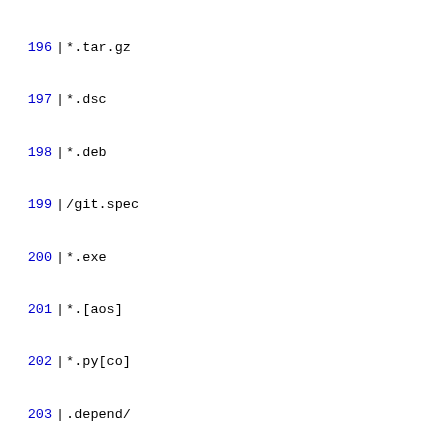196 *.tar.gz
197 *.dsc
198 *.deb
199 /git.spec
200 *.exe
201 *.[aos]
202 *.py[co]
203 .depend/
204 *.gcda
205 *.gcno
206 *.gcov
207 /coverage-untested-functions
208 /cover_db/
209 /cover_db_html/
210 *+
211 /config.mak
212 /autom4te.cache
213 /config.cache
214 /config.log
215 /config.status
216 /config.mak.autogen
217 /config.mak.append
218 /configure
219 /tags
220 /TAGS
221 /cscope*
222 *.obj
223 *.lib
224 *.sln
225 *.suo